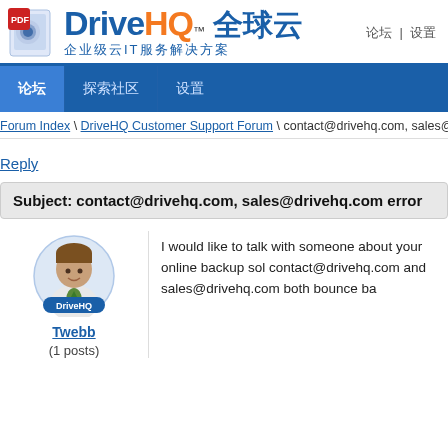[Figure (logo): DriveHQ logo with PDF icon and Chinese text '全球云' subtitle '企业级云IT服务解决方案']
论坛 | 设置
[Figure (screenshot): Navigation bar with tabs: 论坛 (active), 探索社区, 设置]
Forum Index \ DriveHQ Customer Support Forum \ contact@drivehq.com, sales@dri
Reply
Subject: contact@drivehq.com, sales@drivehq.com error
[Figure (photo): DriveHQ default user avatar - business person illustration]
Twebb
(1 posts)
I would like to talk with someone about your online backup sol contact@drivehq.com and sales@drivehq.com both bounce ba